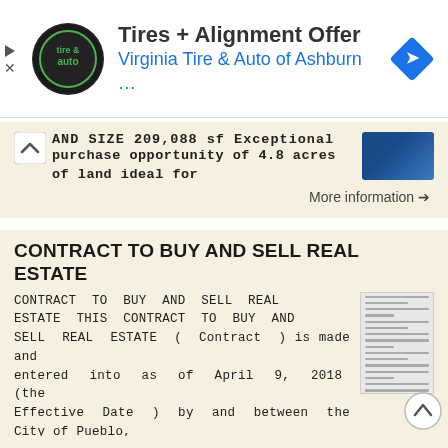[Figure (screenshot): Advertisement banner for Virginia Tire & Auto of Ashburn with logo, title 'Tires + Alignment Offer', blue navigation diamond icon]
AND SIZE 209,088 sf Exceptional purchase opportunity of 4.8 acres of land ideal for
More information →
CONTRACT TO BUY AND SELL REAL ESTATE
CONTRACT TO BUY AND SELL REAL ESTATE THIS CONTRACT TO BUY AND SELL REAL ESTATE ( Contract ) is made and entered into as of April 9, 2018 (the Effective Date ) by and between the City of Pueblo, Colorado,
More information →